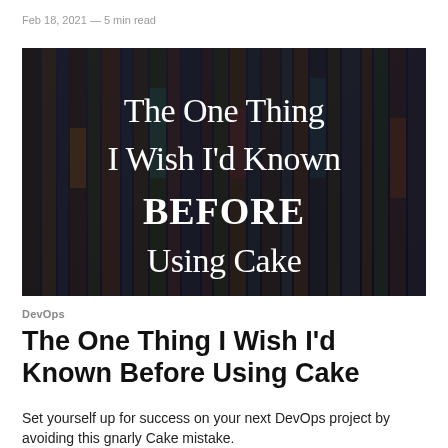Feb 18, 2021 — 5 min read
[Figure (illustration): Dark background image resembling book spines or server racks, with large white text reading 'The One Thing I Wish I'd Known BEFORE Using Cake']
DevOps
The One Thing I Wish I'd Known Before Using Cake
Set yourself up for success on your next DevOps project by avoiding this gnarly Cake mistake.